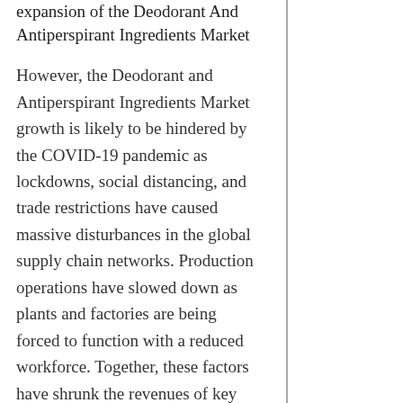expansion of the Deodorant And Antiperspirant Ingredients Market
However, the Deodorant and Antiperspirant Ingredients Market growth is likely to be hindered by the COVID-19 pandemic as lockdowns, social distancing, and trade restrictions have caused massive disturbances in the global supply chain networks. Production operations have slowed down as plants and factories are being forced to function with a reduced workforce. Together, these factors have shrunk the revenues of key players in this market, which will inevitably hamper investments in the market. Nonetheless, certain companies will also experience exponential growth owing to the escalating demand for packaged medical and